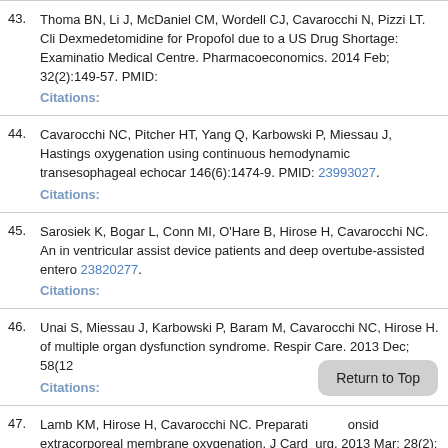43. Thoma BN, Li J, McDaniel CM, Wordell CJ, Cavarocchi N, Pizzi LT. Cli Dexmedetomidine for Propofol due to a US Drug Shortage: Examinatio Medical Centre. Pharmacoeconomics. 2014 Feb; 32(2):149-57. PMID:
Citations:
44. Cavarocchi NC, Pitcher HT, Yang Q, Karbowski P, Miessau J, Hastings oxygenation using continuous hemodynamic transesophageal echocar 146(6):1474-9. PMID: 23993027.
Citations:
45. Sarosiek K, Bogar L, Conn MI, O'Hare B, Hirose H, Cavarocchi NC. An in ventricular assist device patients and deep overtube-assisted entero 23820277.
Citations:
46. Unai S, Miessau J, Karbowski P, Baram M, Cavarocchi NC, Hirose H. of multiple organ dysfunction syndrome. Respir Care. 2013 Dec; 58(12
Citations:
47. Lamb KM, Hirose H, Cavarocchi NC. Preparati onsid extracorporeal membrane oxygenation. J Card urg. 2013 Mar; 28(2):